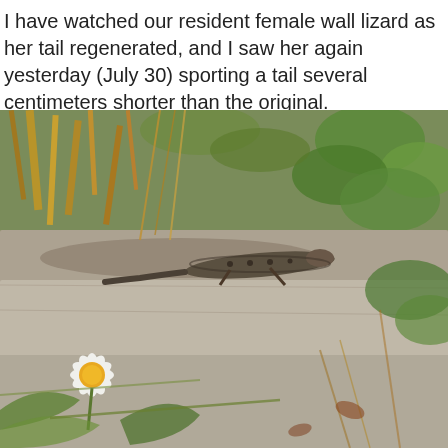I have watched our resident female wall lizard as her tail regenerated, and I saw her again yesterday (July 30) sporting a tail several centimeters shorter than the original.
[Figure (photo): Outdoor photograph of a wall lizard resting on a stone ledge or rocky surface, surrounded by dry grasses, green leaves, and a white daisy-like flower with a yellow center in the lower left. The lizard has a patterned back and is visible in the center of the image sunning itself on the grey stone.]